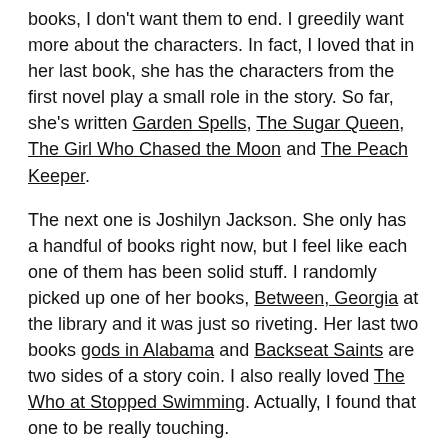books, I don't want them to end. I greedily want more about the characters. In fact, I loved that in her last book, she has the characters from the first novel play a small role in the story. So far, she's written Garden Spells, The Sugar Queen, The Girl Who Chased the Moon and The Peach Keeper.
The next one is Joshilyn Jackson. She only has a handful of books right now, but I feel like each one of them has been solid stuff. I randomly picked up one of her books, Between, Georgia at the library and it was just so riveting. Her last two books gods in Alabama and Backseat Saints are two sides of a story coin. I also really loved The Who at Stopped Swimming. Actually, I found that one to be really touching.
Joanne Harris is also an author that I've come to love. I've read most of her work and it's just so good. Her stories have mystery, magic and this old world charm.